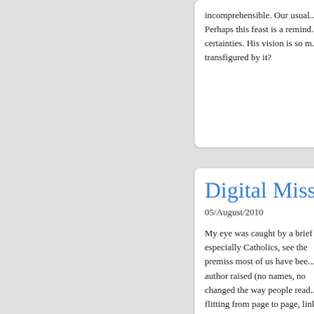incomprehensible. Our usual... Perhaps this feast is a reminder of certainties. His vision is so m... transfigured by it?
Digital Missi...
05/August/2010
My eye was caught by a brief... especially Catholics, see the... premiss most of us have bee... author raised (no names, no... changed the way people read... flitting from page to page, link... sometimes ill-informed as eve... we find on the web is anonym... one of the first things we hav... lectio divina, prayerful readin... concern for the other, are at b... Chesterton remarked, "The g...